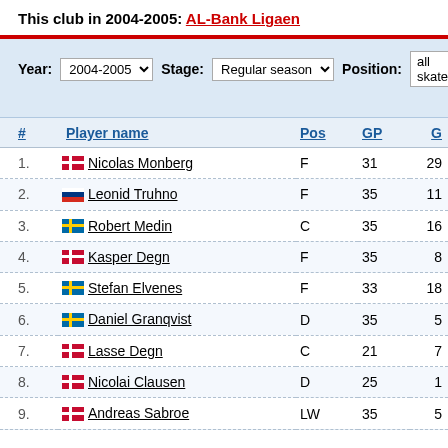This club in 2004-2005: AL-Bank Ligaen
Year: 2004-2005  Stage: Regular season  Position: all skate
| # | Player name | Pos | GP | G |
| --- | --- | --- | --- | --- |
| 1. | Nicolas Monberg | F | 31 | 29 |
| 2. | Leonid Truhno | F | 35 | 11 |
| 3. | Robert Medin | C | 35 | 16 |
| 4. | Kasper Degn | F | 35 | 8 |
| 5. | Stefan Elvenes | F | 33 | 18 |
| 6. | Daniel Granqvist | D | 35 | 5 |
| 7. | Lasse Degn | C | 21 | 7 |
| 8. | Nicolai Clausen | D | 25 | 1 |
| 9. | Andreas Sabroe | LW | 35 | 5 |